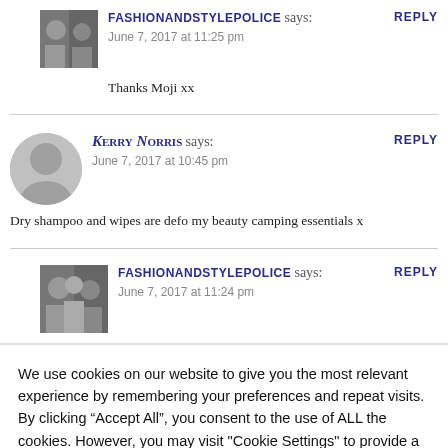FASHIONANDSTYLEPOLICE says: June 7, 2017 at 11:25 pm
Thanks Moji xx
Kerry Norris says: June 7, 2017 at 10:45 pm
Dry shampoo and wipes are defo my beauty camping essentials x
FASHIONANDSTYLEPOLICE says: June 7, 2017 at 11:24 pm
We use cookies on our website to give you the most relevant experience by remembering your preferences and repeat visits. By clicking “Accept All”, you consent to the use of ALL the cookies. However, you may visit "Cookie Settings" to provide a controlled consent.